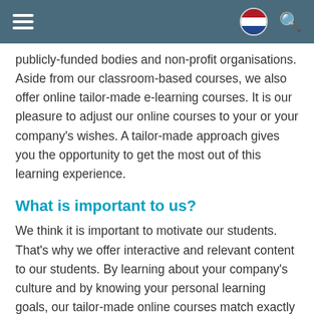[Navigation bar with hamburger menu, Dutch flag, and search icon]
publicly-funded bodies and non-profit organisations. Aside from our classroom-based courses, we also offer online tailor-made e-learning courses. It is our pleasure to adjust our online courses to your or your company's wishes. A tailor-made approach gives you the opportunity to get the most out of this learning experience.
What is important to us?
We think it is important to motivate our students. That's why we offer interactive and relevant content to our students. By learning about your company's culture and by knowing your personal learning goals, our tailor-made online courses match exactly with your wishes. Additionally, personal attention is also